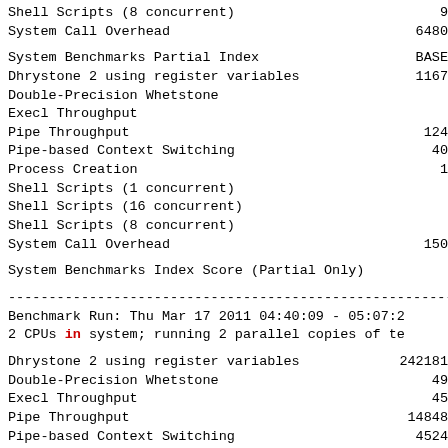Shell Scripts (8 concurrent)    9
System Call Overhead    6480
System Benchmarks Partial Index    BASE
Dhrystone 2 using register variables    1167
Double-Precision Whetstone
Execl Throughput
Pipe Throughput    124
Pipe-based Context Switching    40
Process Creation    1
Shell Scripts (1 concurrent)
Shell Scripts (16 concurrent)
Shell Scripts (8 concurrent)
System Call Overhead    150
System Benchmarks Index Score (Partial Only)
------------------------------------------------------------------------
Benchmark Run: Thu Mar 17 2011 04:40:09 - 05:07:2
2 CPUs in system; running 2 parallel copies of te
| Benchmark | Value |
| --- | --- |
| Dhrystone 2 using register variables | 242181 |
| Double-Precision Whetstone | 49 |
| Execl Throughput | 45 |
| Pipe Throughput | 14848 |
| Pipe-based Context Switching | 4524 |
| Process Creation | 136 |
| Shell Scripts (1 concurrent) | 68 |
| Shell Scripts (16 concurrent) | 4 |
| Shell Scripts (8 concurrent) |  |